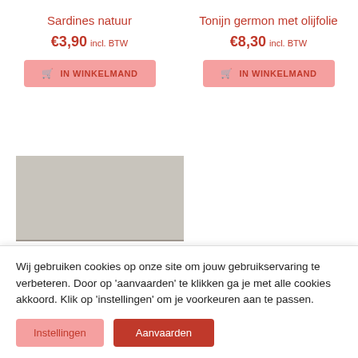Sardines natuur
€3,90 incl. BTW
IN WINKELMAND
Tonijn germon met olijfolie
€8,30 incl. BTW
IN WINKELMAND
[Figure (photo): Product image placeholder - grey/beige rectangular area]
Wij gebruiken cookies op onze site om jouw gebruikservaring te verbeteren. Door op 'aanvaarden' te klikken ga je met alle cookies akkoord. Klik op 'instellingen' om je voorkeuren aan te passen.
Instellingen
Aanvaarden